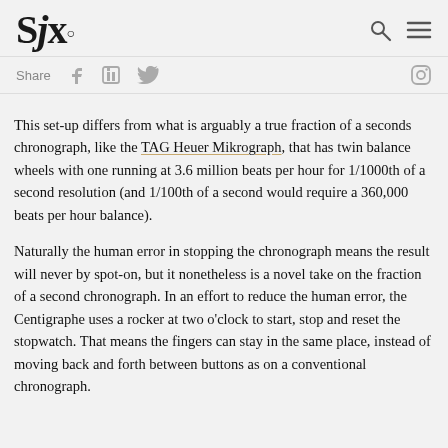SJx.
Share
This set-up differs from what is arguably a true fraction of a seconds chronograph, like the TAG Heuer Mikrograph, that has twin balance wheels with one running at 3.6 million beats per hour for 1/1000th of a second resolution (and 1/100th of a second would require a 360,000 beats per hour balance).
Naturally the human error in stopping the chronograph means the result will never by spot-on, but it nonetheless is a novel take on the fraction of a second chronograph. In an effort to reduce the human error, the Centigraphe uses a rocker at two o'clock to start, stop and reset the stopwatch. That means the fingers can stay in the same place, instead of moving back and forth between buttons as on a conventional chronograph.